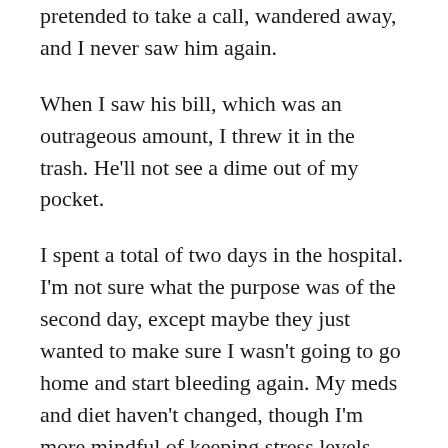pretended to take a call, wandered away, and I never saw him again.
When I saw his bill, which was an outrageous amount, I threw it in the trash. He'll not see a dime out of my pocket.
I spent a total of two days in the hospital. I'm not sure what the purpose was of the second day, except maybe they just wanted to make sure I wasn't going to go home and start bleeding again. My meds and diet haven't changed, though I'm more mindful of keeping stress levels low. (Yeah, right. See next rock.)
It's been five months, and I now have sensation in my face and hand. At first it was terrible pain, but the pain has eased off somewhat and it's now just an uncomfortable sensation. Like burning,